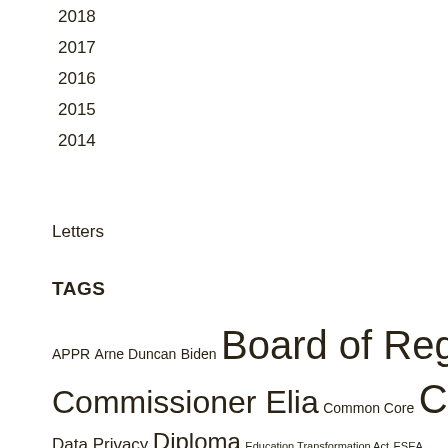2018
2017
2016
2015
2014
Letters
TAGS
APPR Arne Duncan Biden Board of Regents Commissioner Elia Common Core Cuomo Data Privacy Diploma Education Transformation Act ESEA ESSA Field Tests NYS Assessments NYSED NYSUT Opt-Out Privatize Racial Justice Racism Refuse